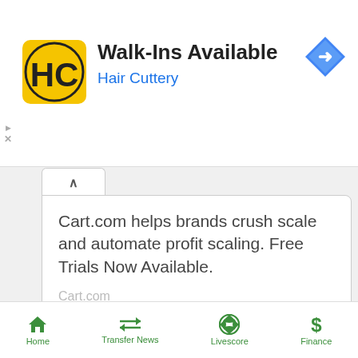[Figure (screenshot): Mobile app screenshot showing two advertisement cards and a bottom navigation bar. Top ad: Hair Cuttery 'Walk-Ins Available'. Second ad: Cart.com 'helps brands crush scale and automate profit scaling. Free Trials Now Available.' with a Learn More button. Bottom nav with Home, Transfer News, Livescore, Finance icons.]
Walk-Ins Available
Hair Cuttery
Cart.com helps brands crush scale and automate profit scaling. Free Trials Now Available.
Cart.com
Learn More
Home  Transfer News  Livescore  Finance